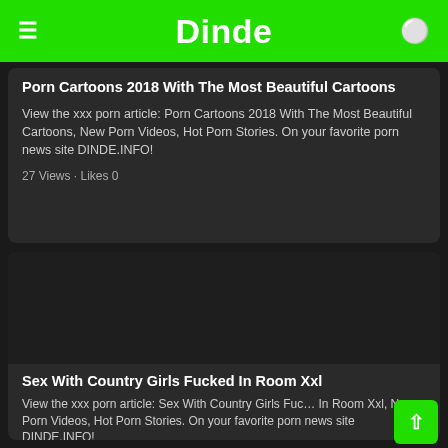Dinde
Porn Cartoons 2018 With The Most Beautiful Cartoons
View the xxx porn article: Porn Cartoons 2018 With The Most Beautiful Cartoons, New Porn Videos, Hot Porn Stories. On your favorite porn news site DINDE.INFO!
27 Views · Likes 0
[Figure (photo): Dark thumbnail image placeholder for second article]
Sex With Country Girls Fucked In Room Xxl
View the xxx porn article: Sex With Country Girls Fucked In Room Xxl, New Porn Videos, Hot Porn Stories. On your favorite porn news site DINDE.INFO!